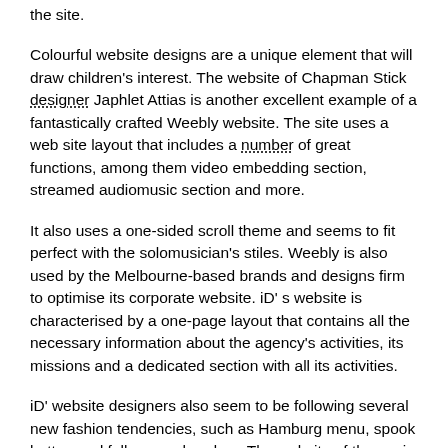the site.
Colourful website designs are a unique element that will draw children's interest. The website of Chapman Stick designer Japhlet Attias is another excellent example of a fantastically crafted Weebly website. The site uses a web site layout that includes a number of great functions, among them video embedding section, streamed audiomusic section and more.
It also uses a one-sided scroll theme and seems to fit perfect with the solomusician's stiles. Weebly is also used by the Melbourne-based brands and designs firm to optimise its corporate website. iD' s website is characterised by a one-page layout that contains all the necessary information about the agency's activities, its missions and a dedicated section with all its activities.
iD' website designers also seem to be following several new fashion tendencies, such as Hamburg menu, spook button and full screen headers. The website of the spain fashion designers Raquel Orozco is full with all her stylish clothes. Similar to their drafts, the Weebly-powered website also uses an elegant